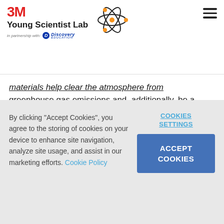3M Young Scientist Lab — in partnership with Discovery Education
materials help clear the atmosphere from greenhouse gas emissions and, additionally, be a
Nano Particle Wound Care
By clicking "Accept Cookies", you agree to the storing of cookies on your device to enhance site navigation, analyze site usage, and assist in our marketing efforts. Cookie Policy
COOKIES SETTINGS
ACCEPT COOKIES